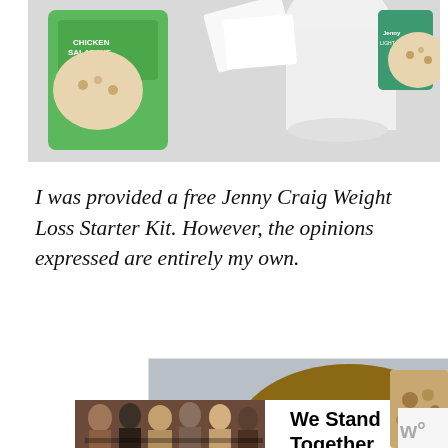[Figure (photo): Top portion of a product collage showing Jenny Craig food products including a Chicken Salad Kit, a white cup, green packaging, and other food items arranged on a flat surface]
I was provided a free Jenny Craig Weight Loss Starter Kit. However, the opinions expressed are entirely my own.
[Figure (photo): Advertisement showing a young boy with freckles on a gray background on the left, and a teal/turquoise panel on the right with a white quotation mark and the text: "I moved a bunch. I didn't want to move that much. I just wanted a family." — Conner, adopted at 12]
[Figure (photo): Bottom advertisement banner showing children/teenagers standing together with arms around each other, with text 'We Stand Together' in bold black lettering]